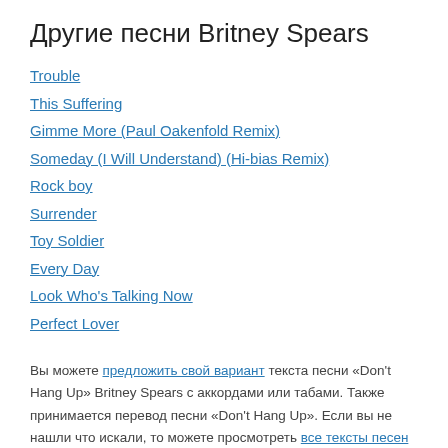Другие песни Britney Spears
Trouble
This Suffering
Gimme More (Paul Oakenfold Remix)
Someday (I Will Understand) (Hi-bias Remix)
Rock boy
Surrender
Toy Soldier
Every Day
Look Who's Talking Now
Perfect Lover
Вы можете предложить свой вариант текста песни «Don't Hang Up» Britney Spears с аккордами или табами. Также принимается перевод песни «Don't Hang Up». Если вы не нашли что искали, то можете просмотреть все тексты песен исполнителя Britney Spears или воспользоваться поиском по сайту.
Популярные исполнители